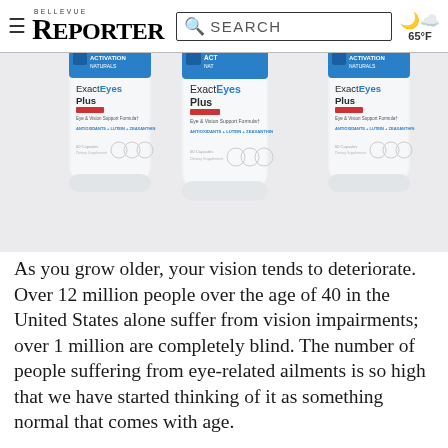BELLEVUE REPORTER | SEARCH | 65°F
[Figure (photo): Three white bottles of ExactEyes Plus dietary supplement by Activation Naturals, showing 'Eye & Vision Support Formula, ANTIOXIDANTS + LUTEIN + ZEAXANTHIN' label, arranged side by side against a white background with website header overlay]
As you grow older, your vision tends to deteriorate. Over 12 million people over the age of 40 in the United States alone suffer from vision impairments; over 1 million are completely blind. The number of people suffering from eye-related ailments is so high that we have started thinking of it as something normal that comes with age.